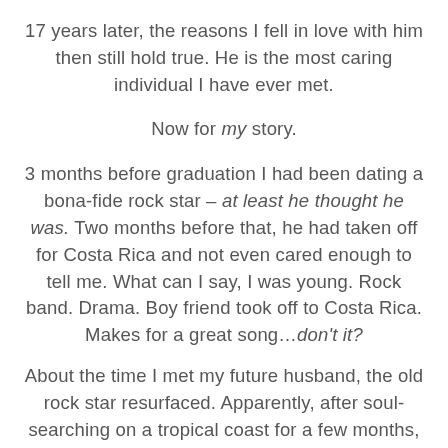17 years later, the reasons I fell in love with him then still hold true.  He is the most caring individual I have ever met.
Now for my story.
3 months before graduation I had been dating a bona-fide rock star – at least he thought he was. Two months before that, he had taken off for Costa Rica and not even cared enough to tell me. What can I say, I was young.  Rock band. Drama. Boy friend took off to Costa Rica.  Makes for a great song…don't it?
About the time I met my future husband, the old rock star resurfaced.  Apparently, after soul-searching on a tropical coast for a few months, he had realized I may have been worth fighting for.  I